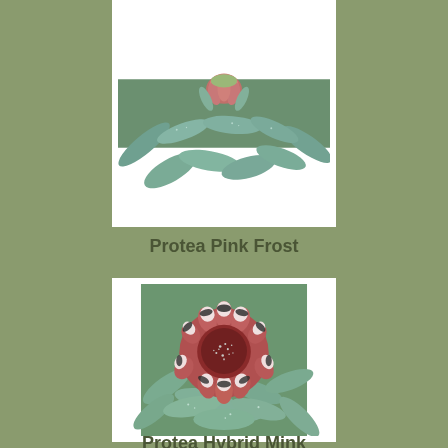[Figure (photo): Close-up photo of Protea Pink Frost plant with green-blue leaves covered in water droplets and a budding pink-red flower head visible at the top]
Protea Pink Frost
[Figure (photo): Close-up photo of Protea Hybrid Mink flower showing a round red bloom with black-tipped white frosted bracts and water droplets, surrounded by blue-green leaves]
Protea Hybrid Mink